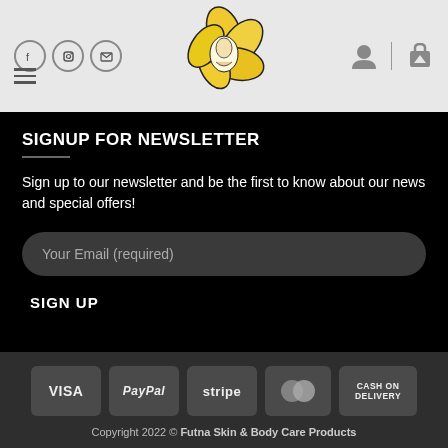[Figure (screenshot): Website header with social media icons (Facebook, Instagram, email), hamburger menu, flower logo, user icon and cart icon on grey background]
SIGNUP FOR NEWSLETTER
Sign up to our newsletter and be the first to know about our news and special offers!
Your Email (required)
SIGN UP
[Figure (logo): Payment method badges: VISA, PayPal, stripe, MasterCard, Cash on Delivery]
Copyright 2022 © Futna Skin & Body Care Products